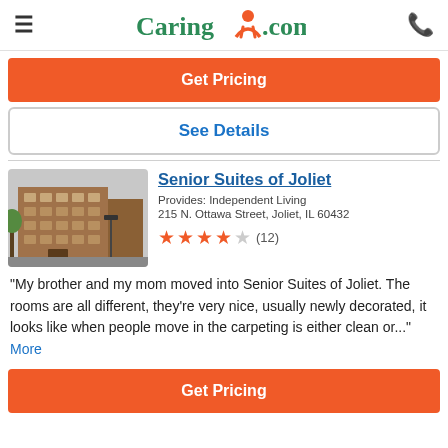Caring.com
Get Pricing
See Details
[Figure (photo): Exterior photo of Senior Suites of Joliet, a multi-story brick building on a city street corner]
Senior Suites of Joliet
Provides: Independent Living
215 N. Ottawa Street, Joliet, IL 60432
4 out of 5 stars (12 reviews)
"My brother and my mom moved into Senior Suites of Joliet. The rooms are all different, they're very nice, usually newly decorated, it looks like when people move in the carpeting is either clean or..." More
Get Pricing